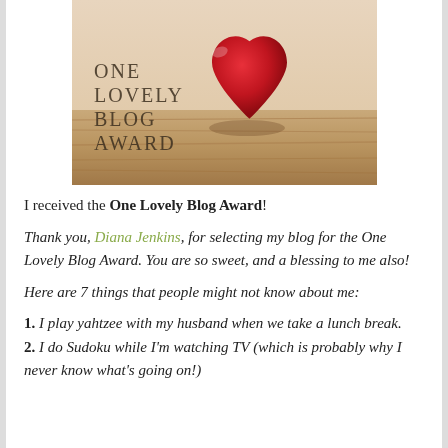[Figure (photo): One Lovely Blog Award image with a red heart on a wooden surface and the text ONE LOVELY BLOG AWARD overlaid]
I received the One Lovely Blog Award!
Thank you, Diana Jenkins, for selecting my blog for the One Lovely Blog Award. You are so sweet, and a blessing to me also!
Here are 7 things that people might not know about me:
1. I play yahtzee with my husband when we take a lunch break.
2. I do Sudoku while I'm watching TV (which is probably why I never know what's going on!)